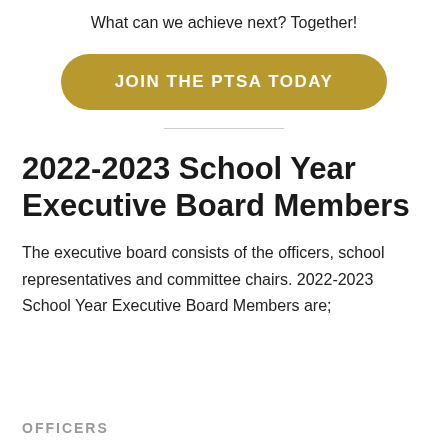What can we achieve next? Together!
[Figure (other): Gold pill-shaped button with white bold text reading JOIN THE PTSA TODAY]
2022-2023 School Year Executive Board Members
The executive board consists of the officers, school representatives and committee chairs. 2022-2023 School Year Executive Board Members are;
OFFICERS